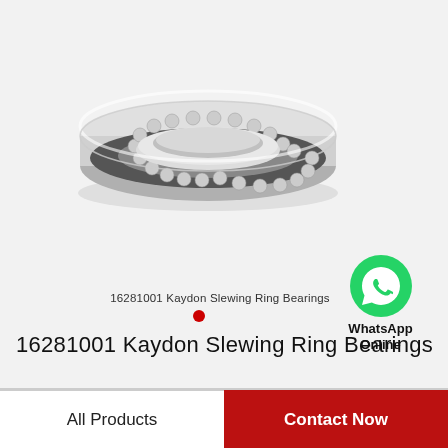[Figure (photo): A slewing ring bearing (16281001 Kaydon) shown from a top-angled perspective. The bearing is a large annular ring with metallic silver/chrome finish, featuring visible ball bearings arranged around the circumference in a dark cage. The center is open (hollow). The outer ring has a flat profile.]
16281001 Kaydon Slewing Ring Bearings
[Figure (logo): WhatsApp Online icon — green circle with white phone handset silhouette, with 'WhatsApp Online' text below]
16281001 Kaydon Slewing Ring Bearings
All Products
Contact Now